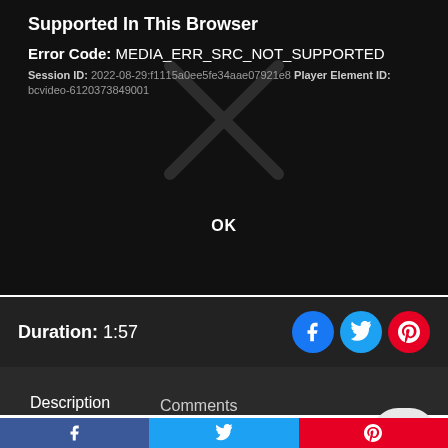[Figure (screenshot): Video player error screen on dark background showing 'Supported In This Browser' title, error code MEDIA_ERR_SRC_NOT_SUPPORTED, session ID, player element ID, a large X watermark, and an OK button]
Duration: 1:57
[Figure (infographic): Social share icons: Facebook (blue circle), Twitter (blue circle), Pinterest (red circle)]
Description   Comments
Every RV unit has a distribution panel, which is wh routes electrical power throughout the unit and i most of the unit's circuit breakers and fuses. The RV
[Figure (infographic): Bottom social share bar with Facebook (blue), Twitter (light blue), Pinterest (red) buttons]